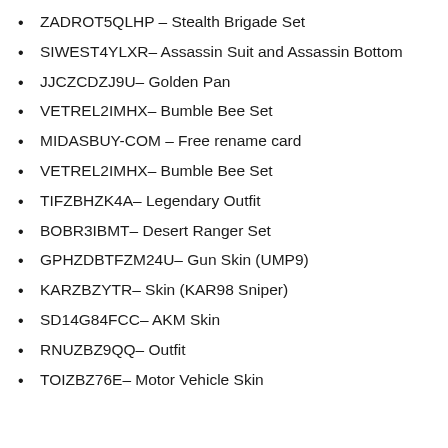ZADROT5QLHP – Stealth Brigade Set
SIWEST4YLXR– Assassin Suit and Assassin Bottom
JJCZCDZJ9U– Golden Pan
VETREL2IMHX– Bumble Bee Set
MIDASBUY-COM – Free rename card
VETREL2IMHX– Bumble Bee Set
TIFZBHZK4A– Legendary Outfit
BOBR3IBMT– Desert Ranger Set
GPHZDBTFZM24U– Gun Skin (UMP9)
KARZBZYTR– Skin (KAR98 Sniper)
SD14G84FCC– AKM Skin
RNUZBZ9QQ– Outfit
TOIZBZ76E– Motor Vehicle Skin